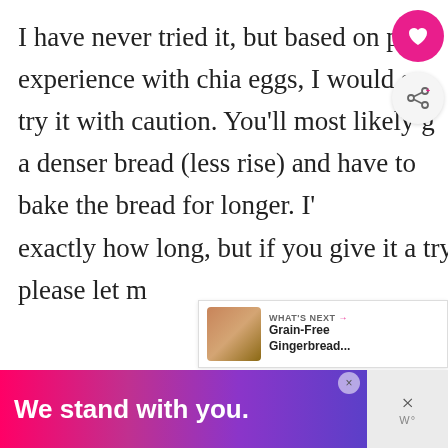I have never tried it, but based on prior experience with chia eggs, I would say try it with caution. You'll most likely get a denser bread (less rise) and have to bake the bread for longer. I'm not sure exactly how long, but if you give it a try, please let m…
Reply
Diane says
SEPTEMBER 8, 2015 AT…
[Figure (screenshot): WHAT'S NEXT panel showing Grain-Free Gingerbread... with a thumbnail image]
[Figure (screenshot): Popup overlay titled Fudgy 3-Ingredient Detox Co... showing a hand mixing ingredients in a glass bowl]
[Figure (screenshot): Ad banner at bottom: We stand with you. with pink/purple gradient background and close buttons]